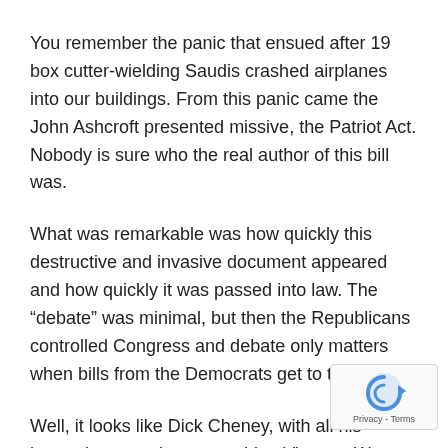You remember the panic that ensued after 19 box cutter-wielding Saudis crashed airplanes into our buildings. From this panic came the John Ashcroft presented missive, the Patriot Act. Nobody is sure who the real author of this bill was.
What was remarkable was how quickly this destructive and invasive document appeared and how quickly it was passed into law. The “debate” was minimal, but then the Republicans controlled Congress and debate only matters when bills from the Democrats get to the floor.
Well, it looks like Dick Cheney, with all his harrowing experience watching Vietnam War protestors in Wisc… while he was dodging the draft, saw fit to never let tha… embarrassment of actual democracy happen on his w…